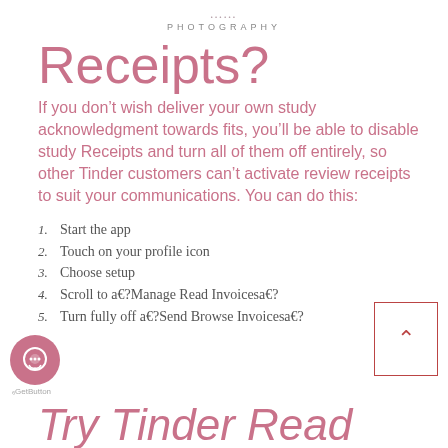PHOTOGRAPHY
Receipts?
If you don’t wish deliver your own study acknowledgment towards fits, you’ll be able to disable study Receipts and turn all of them off entirely, so other Tinder customers can’t activate review receipts to suit your communications. You can do this:
1. Start the app
2. Touch on your profile icon
3. Choose setup
4. Scroll to a€?Manage Read Invoicesa€?
5. Turn fully off a€?Send Browse Invoicesa€?
Try Tinder Read